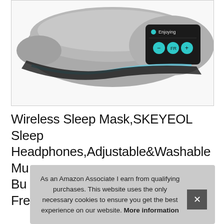[Figure (photo): Gray wireless sleep mask/headphones product photo showing the device with a black panel bearing the 'Enjoying' logo and three teal circular control buttons, on a white background]
Wireless Sleep Mask,SKEYEOL Sleep Headphones,Adjustable&Washable Mu... Bu... Fre...
As an Amazon Associate I earn from qualifying purchases. This website uses the only necessary cookies to ensure you get the best experience on our website. More information